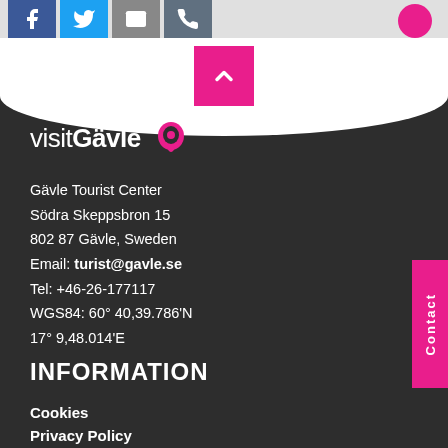[Figure (screenshot): Social media icon buttons: Facebook (blue), Twitter (blue), email (grey), phone (dark grey), and a pink circle icon on the right]
[Figure (illustration): Pink square button with upward chevron arrow for scrolling to top]
[Figure (logo): visitGävle logo with pink lightbulb/speech-bubble icon]
Gävle Tourist Center
Södra Skeppsbron 15
802 87 Gävle, Sweden
Email: turist@gavle.se
Tel: +46-26-177117
WGS84: 60° 40,39.786'N
17° 9,48.014'E
INFORMATION
Cookies
Privacy Policy
GÄVLE TOURIST CENTER